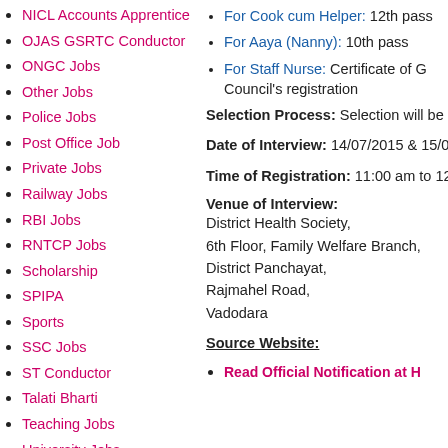NICL Accounts Apprentice
OJAS GSRTC Conductor
ONGC Jobs
Other Jobs
Police Jobs
Post Office Job
Private Jobs
Railway Jobs
RBI Jobs
RNTCP Jobs
Scholarship
SPIPA
Sports
SSC Jobs
ST Conductor
Talati Bharti
Teaching Jobs
University Jobs
UPSC
For Cook cum Helper: 12th pass
For Aaya (Nanny): 10th pass
For Staff Nurse: Certificate of G… Council's registration
Selection Process: Selection will be…
Date of Interview: 14/07/2015 & 15/0…
Time of Registration: 11:00 am to 12…
Venue of Interview:
District Health Society,
6th Floor, Family Welfare Branch,
District Panchayat,
Rajmahel Road,
Vadodara
Source Website:
Read Official Notification at H…